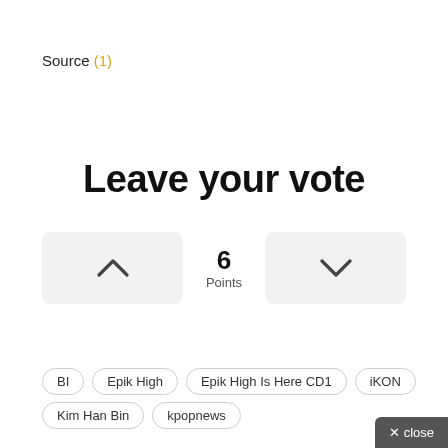Source (1)
Leave your vote
[Figure (other): Voting widget with upvote button (chevron up), score of 6 Points in center, and downvote button (chevron down)]
BI
Epik High
Epik High Is Here CD1
iKON
Kim Han Bin
kpopnews
× close